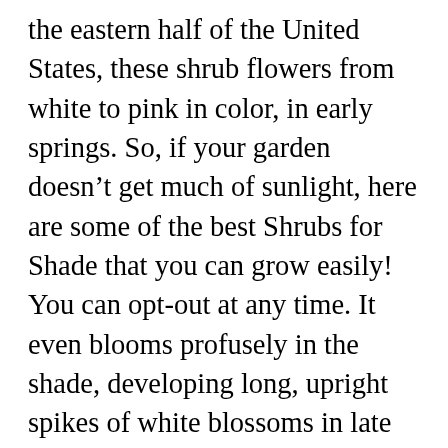the eastern half of the United States, these shrub flowers from white to pink in color, in early springs. So, if your garden doesn't get much of sunlight, here are some of the best Shrubs for Shade that you can grow easily! You can opt-out at any time. It even blooms profusely in the shade, developing long, upright spikes of white blossoms in late summer. Since the people searching most desperately for ideas for shade gardens will be planting in an area that gets less than three hours of sun each day, you should begin looking at some full-shade plants. The foliage turns into brilliant red to purple and mahogany color in fall. Hydrangea It is one of the largest genera of flowering plants